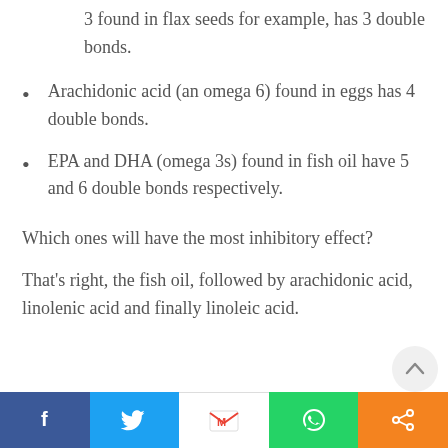3 found in flax seeds for example, has 3 double bonds.
Arachidonic acid (an omega 6) found in eggs has 4 double bonds.
EPA and DHA (omega 3s) found in fish oil have 5 and 6 double bonds respectively.
Which ones will have the most inhibitory effect?
That’s right, the fish oil, followed by arachidonic acid, linolenic acid and finally linoleic acid.